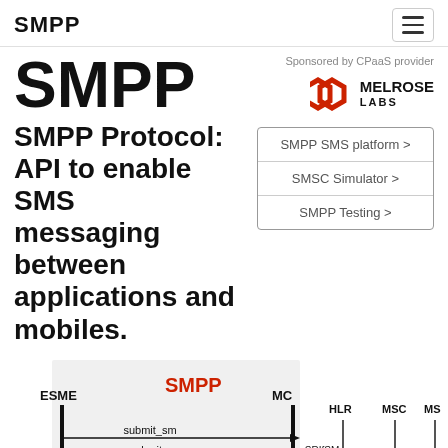SMPP
SMPP
Sponsored by CPaaS provider
[Figure (logo): Melrose Labs logo — two overlapping red hexagonal rings with text MELROSE LABS]
SMPP Protocol: API to enable SMS messaging between applications and mobiles.
SMPP SMS platform >
SMSC Simulator >
SMPP Testing >
[Figure (engineering-diagram): SMPP protocol sequence diagram showing ESME, MC, HLR, MSC, MS nodes with arrows: submit_sm, submit_sm_resp, SRIfSM, FSM, deliver_sm, deliver_sm_resp. SMPP label in red over shaded area between ESME and MC. Labels at bottom: Application, SMSC or, Mobile.]